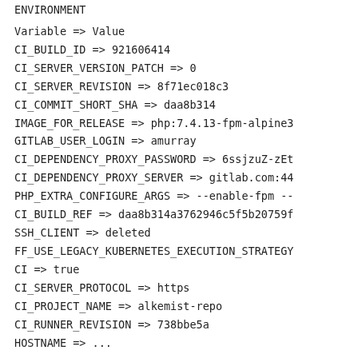ENVIRONMENT
Variable => Value
CI_BUILD_ID => 921606414
CI_SERVER_VERSION_PATCH => 0
CI_SERVER_REVISION => 8f71ec018c3
CI_COMMIT_SHORT_SHA => daa8b314
IMAGE_FOR_RELEASE => php:7.4.13-fpm-alpine3
GITLAB_USER_LOGIN => amurray
CI_DEPENDENCY_PROXY_PASSWORD => 6ssjzuZ-zEt
CI_DEPENDENCY_PROXY_SERVER => gitlab.com:44
PHP_EXTRA_CONFIGURE_ARGS => --enable-fpm --
CI_BUILD_REF => daa8b314a3762946c5f5b20759f
SSH_CLIENT => deleted
FF_USE_LEGACY_KUBERNETES_EXECUTION_STRATEGY
CI => true
CI_SERVER_PROTOCOL => https
CI_PROJECT_NAME => alkemist-repo
CI_RUNNER_REVISION => 738bbe5a
HOSTNAME => ...